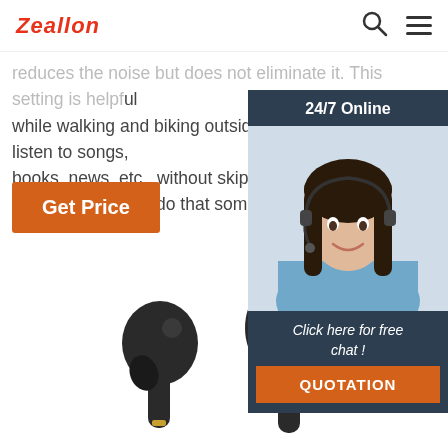Zeallon
reduces the noise but does not eliminate it. This setting is helpful while walking and biking outside. Also, you can listen to songs, books, news, etc., without skipping conversations or announcements. I do that sometimes while talkin…
Get Price
[Figure (photo): 24/7 Online customer support widget showing a smiling woman with a headset, dark background panel with 'Click here for free chat!' text and QUOTATION button]
[Figure (photo): Two black wireless earbuds shown from the front against a white background]